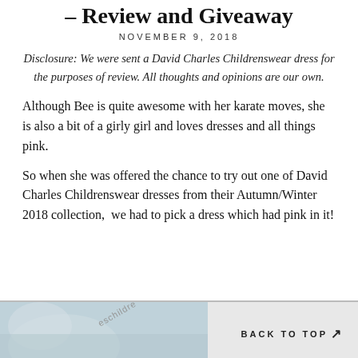– Review and Giveaway
NOVEMBER 9, 2018
Disclosure: We were sent a David Charles Childrenswear dress for the purposes of review. All thoughts and opinions are our own.
Although Bee is quite awesome with her karate moves, she is also a bit of a girly girl and loves dresses and all things pink.
So when she was offered the chance to try out one of David Charles Childrenswear dresses from their Autumn/Winter 2018 collection,  we had to pick a dress which had pink in it!
[Figure (photo): Partial photo of a child wearing a dress, with a watermark visible. A 'BACK TO TOP' navigation link appears at the bottom right.]